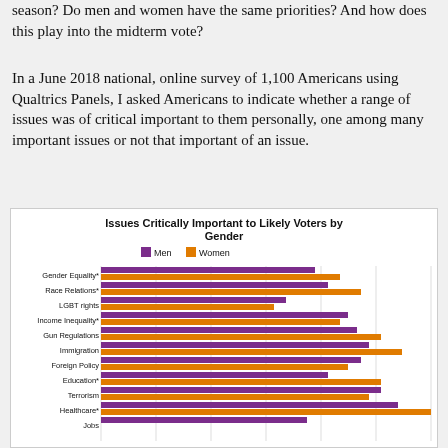season?  Do men and women have the same priorities?  And how does this play into the midterm vote?
In a June 2018 national, online survey of 1,100 Americans using Qualtrics Panels, I asked Americans to indicate whether a range of issues was of critical important to them personally, one among many important issues or not that important of an issue.
[Figure (grouped-bar-chart): Issues Critically Important to Likely Voters by Gender]